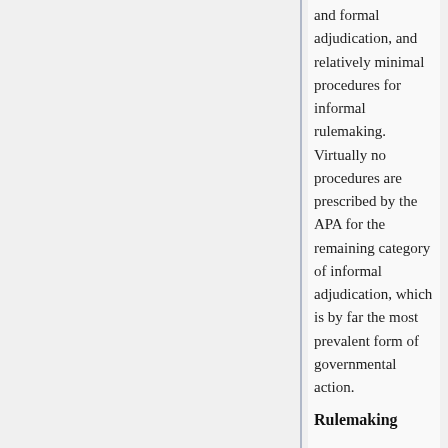and formal adjudication, and relatively minimal procedures for informal rulemaking. Virtually no procedures are prescribed by the APA for the remaining category of informal adjudication, which is by far the most prevalent form of governmental action.
Rulemaking